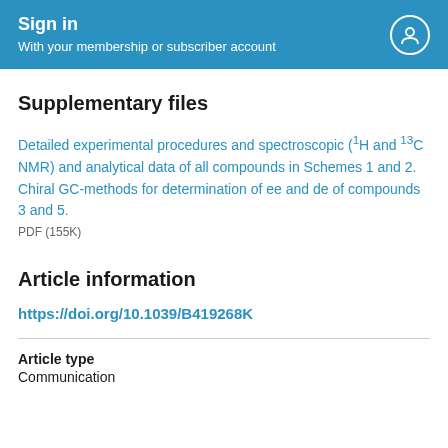Sign in
With your membership or subscriber account
Supplementary files
Detailed experimental procedures and spectroscopic (1H and 13C NMR) and analytical data of all compounds in Schemes 1 and 2. Chiral GC-methods for determination of ee and de of compounds 3 and 5.
PDF (155K)
Article information
https://doi.org/10.1039/B419268K
Article type
Communication